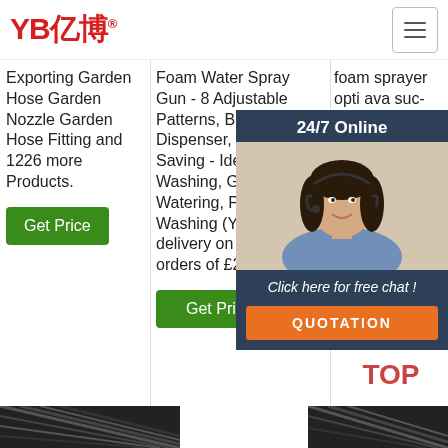[Figure (logo): YB亿博 logo in red with registered trademark symbol]
[Figure (other): Hamburger menu icon button]
Exporting Garden Hose Garden Nozzle Garden Hose Fitting and 1226 more Products.
Get Price
Foam Water Spray Gun - 8 Adjustable Patterns, Built-in Soap Dispenser, Water Saving - Ideal for Car Washing, Garden/Lawn Watering, Pets Washing (Yellow). Free delivery on eligible orders of £20 or more.
Get Price
foam sprayer opti... ava... suc... type... usa...
[Figure (infographic): 24/7 Online chat widget with woman wearing headset, Click here for free chat! and QUOTATION button]
[Figure (other): TOP button with orange dots and red text]
[Figure (photo): Product image bottom left - dark garden hose texture]
[Figure (photo): Product image bottom right - dark garden hose texture]